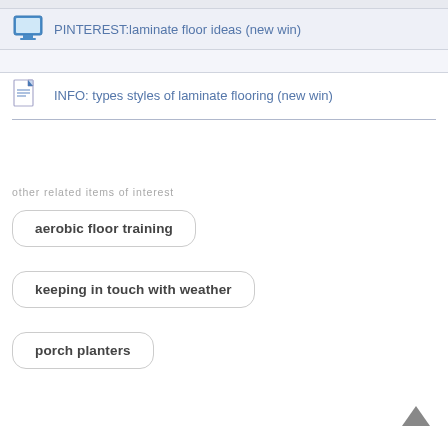PINTEREST:laminate floor ideas (new win)
INFO: types styles of laminate flooring (new win)
other related items of interest
aerobic floor training
keeping in touch with weather
porch planters